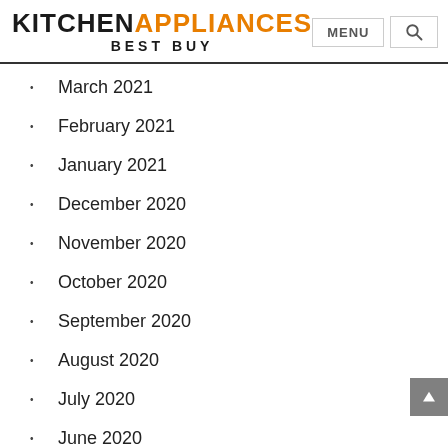KITCHEN APPLIANCES BEST BUY
March 2021
February 2021
January 2021
December 2020
November 2020
October 2020
September 2020
August 2020
July 2020
June 2020
May 2020
April 2020